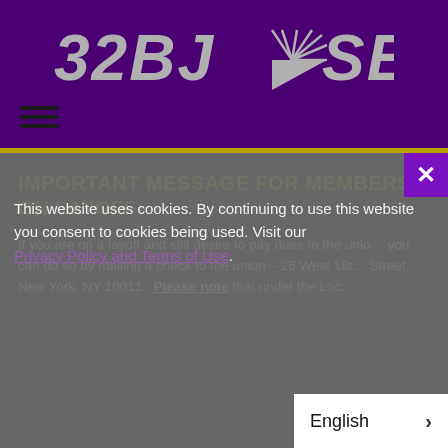[Figure (logo): 32BJ SEIU union logo with stylized sunburst icon between the two text parts, displayed in gray/silver italic bold text on purple background]
32BJ SEIU
IMPORTANT MESSAGE FOR MEMBERS ON LAYOFF
If you are on a layoff and still desire to pay dues to the union, you can do so by mailing a check to the union – 25 West 18th Street, New York, NY 10011. Please note that under the Loc…
This website uses cookies. By continuing to use this website you consent to cookies being used. Visit our Privacy Policy and Terms of Use.